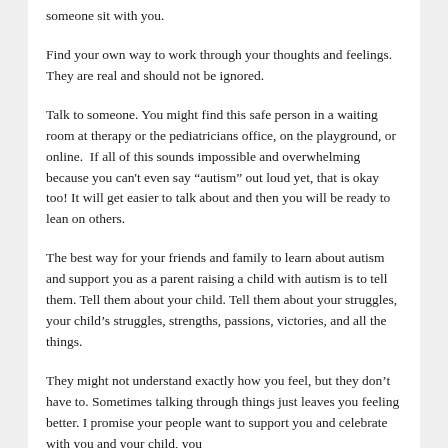someone sit with you.
Find your own way to work through your thoughts and feelings. They are real and should not be ignored.
Talk to someone. You might find this safe person in a waiting room at therapy or the pediatricians office, on the playground, or online.  If all of this sounds impossible and overwhelming because you can't even say “autism” out loud yet, that is okay too! It will get easier to talk about and then you will be ready to lean on others.
The best way for your friends and family to learn about autism and support you as a parent raising a child with autism is to tell them. Tell them about your child. Tell them about your struggles, your child’s struggles, strengths, passions, victories, and all the things.
They might not understand exactly how you feel, but they don’t have to. Sometimes talking through things just leaves you feeling better. I promise your people want to support you and celebrate with you and your child, you